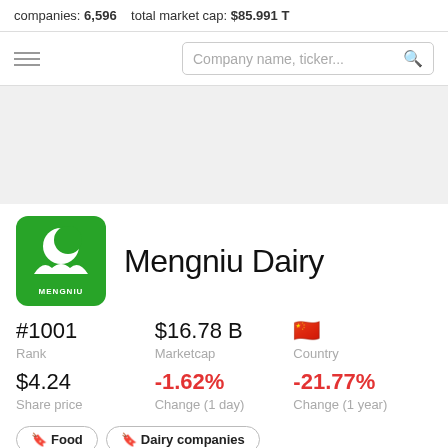companies: 6,596   total market cap: $85.991 T
Company name, ticker...
[Figure (logo): Mengniu Dairy green logo with crescent moon and hills]
Mengniu Dairy
#1001
Rank
$16.78 B
Marketcap
🇨🇳
Country
$4.24
Share price
-1.62%
Change (1 day)
-21.77%
Change (1 year)
🔖 Food
🔖 Dairy companies